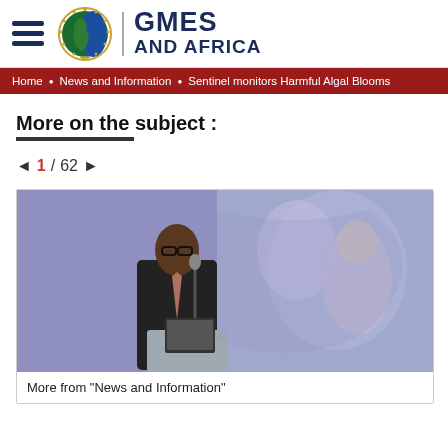GMES AND AFRICA
Home • News and Information • Sentinel monitors Harmful Algal Blooms
More on the subject :
1 / 62
[Figure (photo): A man in a dark suit speaking at a podium with a microphone, with a blurred background showing another person and a purple-toned satellite image backdrop.]
More from "News and Information"